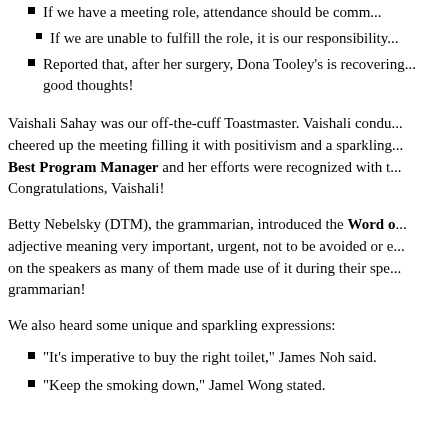If we have a meeting role, attendance should be comm...
If we are unable to fulfill the role, it is our responsibility...
Reported that, after her surgery, Dona Tooley’s is recovering... good thoughts!
Vaishali Sahay was our off-the-cuff Toastmaster. Vaishali condu... cheered up the meeting filling it with positivism and a sparkling... Best Program Manager and her efforts were recognized with t... Congratulations, Vaishali!
Betty Nebelsky (DTM), the grammarian, introduced the Word o... adjective meaning very important, urgent, not to be avoided or e... on the speakers as many of them made use of it during their spe... grammarian!
We also heard some unique and sparkling expressions:
“It’s imperative to buy the right toilet,” James Noh said.
“Keep the smoking down,” Jamel Wong stated.